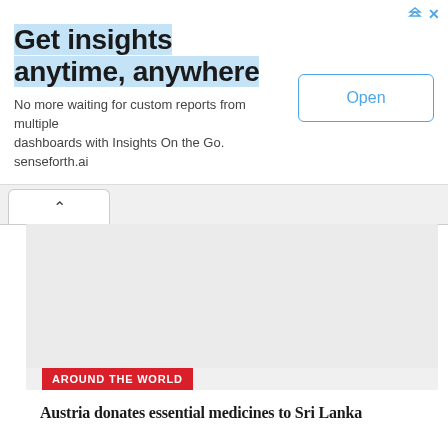[Figure (screenshot): Advertisement banner for Insights On the Go / senseforth.ai with headline 'Get insights anytime, anywhere' and an Open button]
Get insights anytime, anywhere
No more waiting for custom reports from multiple dashboards with Insights On the Go. senseforth.ai
[Figure (screenshot): Browser tab/navigation area with a back arrow tab on white background]
[Figure (photo): Large light gray image placeholder area for news article]
AROUND THE WORLD
Austria donates essential medicines to Sri Lanka